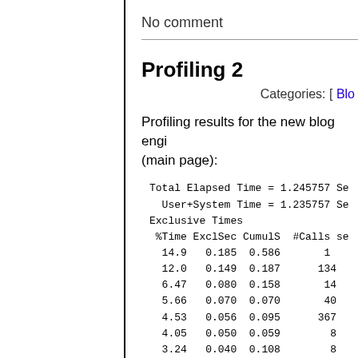No comment
Profiling 2
Categories: [ Blo
Profiling results for the new blog engi (main page):
Total Elapsed Time = 1.245757 Se
  User+System Time = 1.235757 Se
Exclusive Times
 %Time ExclSec CumulS  #Calls se
  14.9   0.185  0.586       1
  12.0   0.149  0.187     134
  6.47   0.080  0.158      14
  5.66   0.070  0.070      40
  4.53   0.056  0.095     367
  4.05   0.050  0.059       8
  3.24   0.040  0.108       8
  2.43   0.030  0.030       7
  2.43   0.030  0.043       9
  2.27   0.028  0.037     317
  1.62   0.020  0.020       1
  1.62   0.020  0.019       4
  1.62   0.020  0.030       5
  1.62   0.020  0.020      27